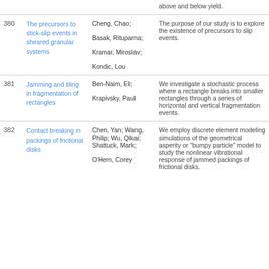| # | Title | Authors | Abstract |
| --- | --- | --- | --- |
|  |  |  | above and below yield. |
| 380 | The precursors to stick-slip events in sheared granular systems | Cheng, Chao; Basak, Rituparna; Kramar, Miroslav; Kondic, Lou | The purpose of our study is to explore the existence of precursors to slip events. |
| 381 | Jamming and tiling in fragmentation of rectangles | Ben-Naim, Eli; Krapivsky, Paul | We investigate a stochastic process where a rectangle breaks into smaller rectangles through a series of horizontal and vertical fragmentation events. |
| 382 | Contact breaking in packings of frictional disks | Chen, Yan; Wang, Philip; Wu, Qikai; Shattuck, Mark; O'Hern, Corey | We employ discrete element modeling simulations of the geometrical asperity or "bumpy particle" model to study the nonlinear vibrational response of jammed packings of frictional disks. |